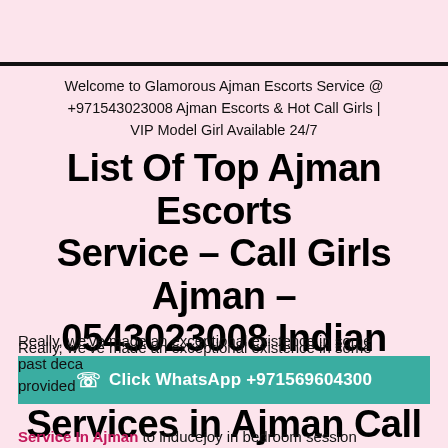Welcome to Glamorous Ajman Escorts Service @ +971543023008 Ajman Escorts & Hot Call Girls | VIP Model Girl Available 24/7
List Of Top Ajman Escorts Service – Call Girls Ajman – 0543023008 Indian Escort Services in Ajman Call Girls Service
Really, we've made an exceptional existence in some past decades, the best aspects of the pleasure to provided... Service In Ajman to inducejoy in bedroom session
[Figure (other): WhatsApp contact button: Click WhatsApp +971569604300]